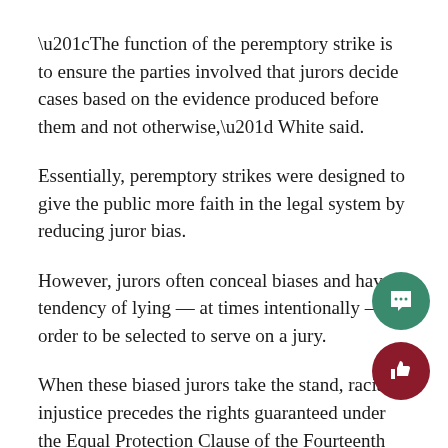“The function of the peremptory strike is to ensure the parties involved that jurors decide cases based on the evidence produced before them and not otherwise,” White said.
Essentially, peremptory strikes were designed to give the public more faith in the legal system by reducing juror bias.
However, jurors often conceal biases and have a tendency of lying — at times intentionally — in order to be selected to serve on a jury.
When these biased jurors take the stand, racial injustice precedes the rights guaranteed under the Equal Protection Clause of the Fourteenth Amendment, as well as the Sixth Amendment right to trial by an impartial jury.
The Supreme Court ruled in the 2016 case that the eliminations were discriminatory in a 7-1 decision. The